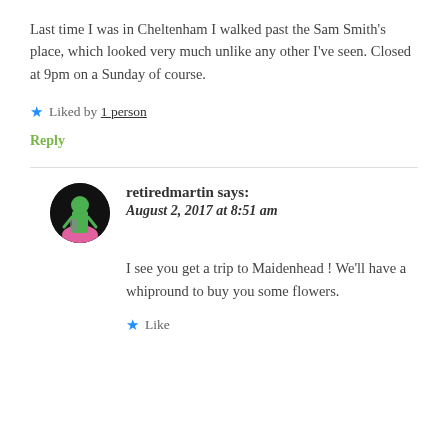Last time I was in Cheltenham I walked past the Sam Smith's place, which looked very much unlike any other I've seen. Closed at 9pm on a Sunday of course.
★ Liked by 1 person
Reply
retiredmartin says: August 2, 2017 at 8:51 am
I see you get a trip to Maidenhead ! We'll have a whipround to buy you some flowers.
★ Like